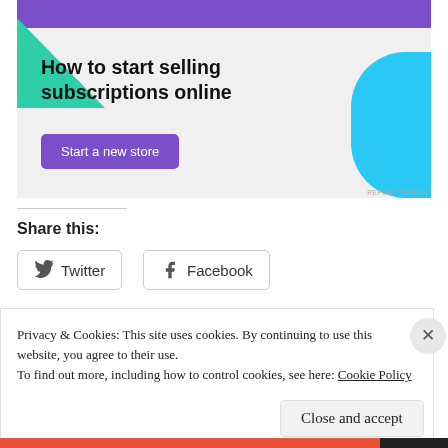[Figure (illustration): Ad banner promoting 'How to start selling subscriptions online' with purple header, teal triangle shape, light blue curved shape, bold headline text, and a purple 'Start a new store' button on a light gray background.]
Share this:
Twitter
Facebook
Privacy & Cookies: This site uses cookies. By continuing to use this website, you agree to their use.
To find out more, including how to control cookies, see here: Cookie Policy
Close and accept